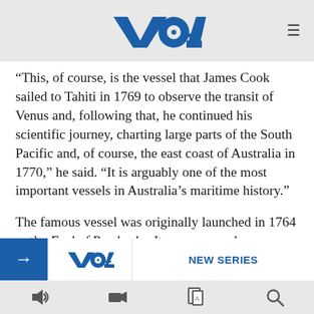VOA (Voice of America) logo and navigation bar
“This, of course, is the vessel that James Cook sailed to Tahiti in 1769 to observe the transit of Venus and, following that, he continued his scientific journey, charting large parts of the South Pacific and, of course, the east coast of Australia in 1770,” he said. “It is arguably one of the most important vessels in Australia’s maritime history.”
The famous vessel was originally launched in 1764 as the Earl of Pembroke. It was renamed Endeavour by Britain's Royal Navy four years later.
The ship was later sold t…
Navigation bar with audio, video, translate, and search icons